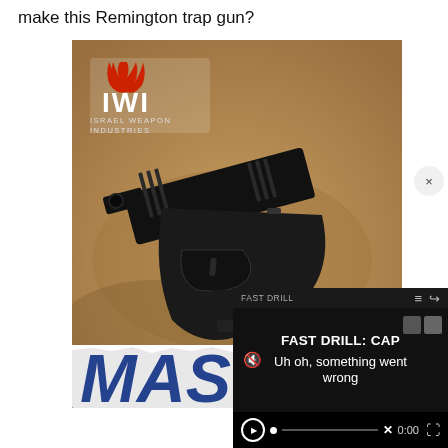make this Remington trap gun?
[Figure (photo): IWI (Israel Weapon Industries) promotional photo of a black semi-automatic pistol lying on sandy/rocky ground with the IWI logo (flame symbol and text) visible in the upper left of the image. The word MAS is partially visible at the bottom in large bold blue letters.]
[Figure (screenshot): Video player overlay showing 'FAST DRILL: CAP' title and an error message 'Uh oh, something went wrong' with video playback controls at the bottom including a play button, muted speaker icon, progress bar with X mark, timestamp 0:00, and fullscreen button. A small FAST DRILL watermark appears in the top right.]